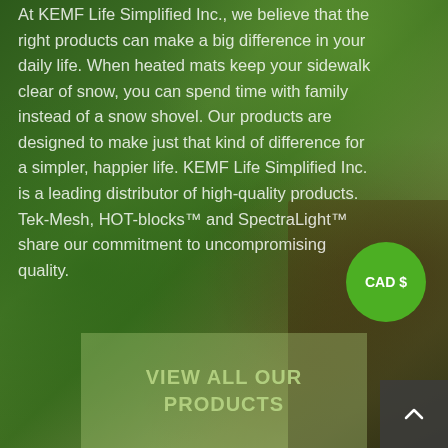[Figure (photo): Background photo of blurred green leaves and a glass jar/pot filled with coins, suggesting a nature and finance/savings theme. The image is heavily blurred with green tones dominating.]
At KEMF Life Simplified Inc., we believe that the right products can make a big difference in your daily life. When heated mats keep your sidewalk clear of snow, you can spend time with family instead of a snow shovel. Our products are designed to make just that kind of difference for a simpler, happier life. KEMF Life Simplified Inc. is a leading distributor of high-quality products. Tek-Mesh, HOT-blocks™ and SpectraLight™ share our commitment to uncompromising quality.
CAD $
VIEW ALL OUR PRODUCTS